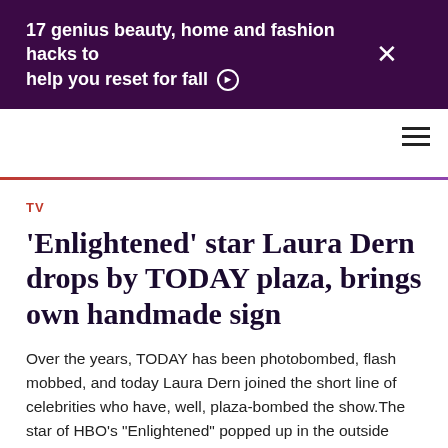17 genius beauty, home and fashion hacks to help you reset for fall ›
TV
'Enlightened' star Laura Dern drops by TODAY plaza, brings own handmade sign
Over the years, TODAY has been photobombed, flash mobbed, and today Laura Dern joined the short line of celebrities who have, well, plaza-bombed the show.The star of HBO's "Enlightened" popped up in the outside crowd Wednesday, holding her very own handmade sign